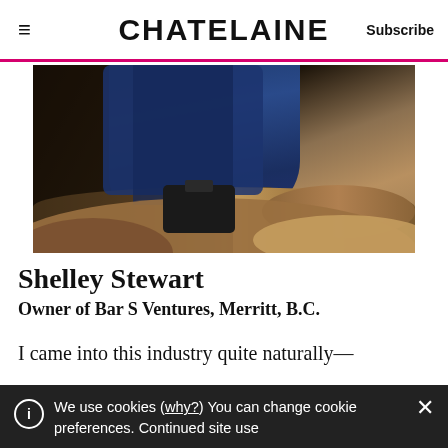≡  CHATELAINE  Subscribe
[Figure (photo): Close-up photo of person crouching on logs, wearing blue jeans and black boots, outdoors in a rustic/ranch setting]
Shelley Stewart
Owner of Bar S Ventures, Merritt, B.C.
I came into this industry quite naturally—
We use cookies (why?) You can change cookie preferences. Continued site use